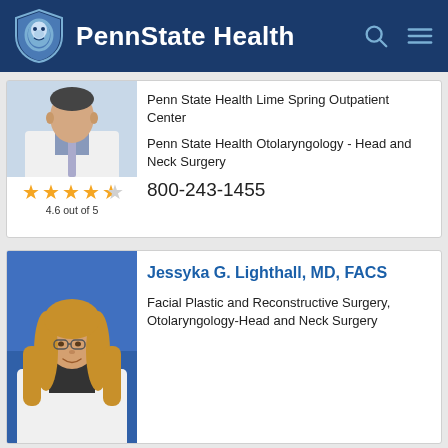PennState Health
Penn State Health Lime Spring Outpatient Center
Penn State Health Otolaryngology - Head and Neck Surgery
4.6 out of 5
800-243-1455
Jessyka G. Lighthall, MD, FACS
Facial Plastic and Reconstructive Surgery, Otolaryngology-Head and Neck Surgery